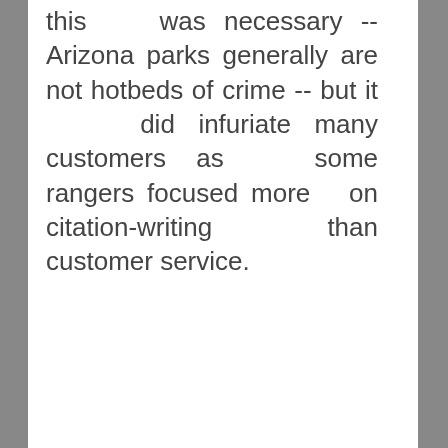this was necessary -- Arizona parks generally are not hotbeds of crime -- but it did infuriate many customers as some rangers focused more on citation-writing than customer service.